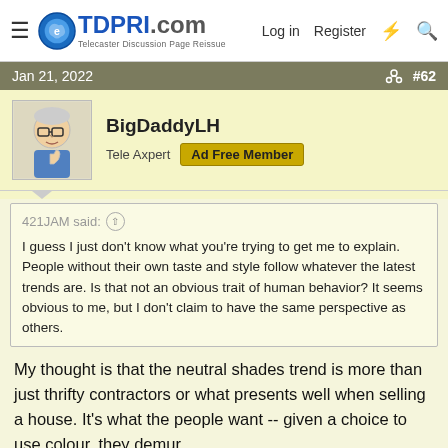TDPRI.com — Telecaster Discussion Page Reissue | Log in | Register
Jan 21, 2022  #62
BigDaddyLH
Tele Axpert  Ad Free Member
421JAM said: ↑

I guess I just don't know what you're trying to get me to explain. People without their own taste and style follow whatever the latest trends are. Is that not an obvious trait of human behavior? It seems obvious to me, but I don't claim to have the same perspective as others.
My thought is that the neutral shades trend is more than just thrifty contractors or what presents well when selling a house. It's what the people want -- given a choice to use colour, they demur.
[Figure (photo): Two guitar images side by side at bottom of post, partially visible]